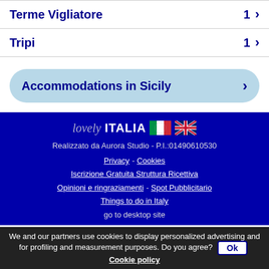Terme Vigliatore  1 ›
Tripi  1 ›
Accommodations in Sicily ›
[Figure (logo): lovely ITALIA logo with Italian and UK flags]
Realizzato da Aurora Studio - P.I.:01490610530
Privacy - Cookies
Iscrizione Gratuita Struttura Ricettiva
Opinioni e ringraziamenti - Spot Pubblicitario
Things to do in Italy
go to desktop site
We and our partners use cookies to display personalized advertising and for profiling and measurement purposes. Do you agree? Ok  Cookie policy